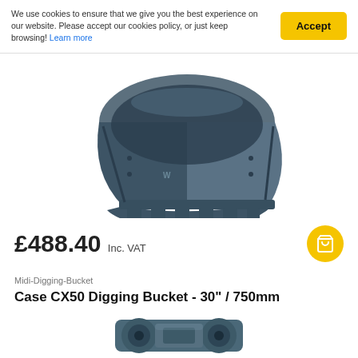We use cookies to ensure that we give you the best experience on our website. Please accept our cookies policy, or just keep browsing! Learn more
[Figure (photo): Steel excavator digging bucket with teeth, dark blue-grey color, viewed from front-right angle against white background]
£488.40 Inc. VAT
Midi-Digging-Bucket
Case CX50 Digging Bucket - 30" / 750mm
[Figure (photo): Bottom portion of a second excavator bucket/attachment component, steel blue-grey, partially visible at bottom of page]